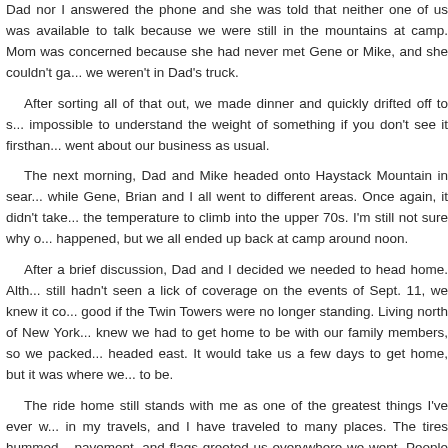Dad nor I answered the phone and she was told that neither one of us was available to talk because we were still in the mountains at camp. Mom was concerned because she had never met Gene or Mike, and she couldn't gauge why we weren't in Dad's truck.
After sorting all of that out, we made dinner and quickly drifted off to sleep. It's impossible to understand the weight of something if you don't see it firsthand. We went about our business as usual.
The next morning, Dad and Mike headed onto Haystack Mountain in search of elk, while Gene, Brian and I all went to different areas. Once again, it didn't take long for the temperature to climb into the upper 70s. I'm still not sure why or how that happened, but we all ended up back at camp around noon.
After a brief discussion, Dad and I decided we needed to head home. Although we still hadn't seen a lick of coverage on the events of Sept. 11, we knew it couldn't be good if the Twin Towers were no longer standing. Living north of New York City, we knew we had to get home to be with our family members, so we packed up camp and headed east. It would take us a few days to get home, but it was where we needed to be.
The ride home still stands with me as one of the greatest things I've ever witnessed in my travels, and I have traveled to many places. The tires hummed against the pavement, and flags greeted us everywhere we went. People stood on bridges and waved flags. Small towns had flags from one street end to the next. Big cities had flags on billboards, and flags draped off road signs. Men had flags painted on their bare chests, and a few women donned American flag bikinis. Trucks had flags sticking out of both ends of their beds. People were united. Everybody jo...